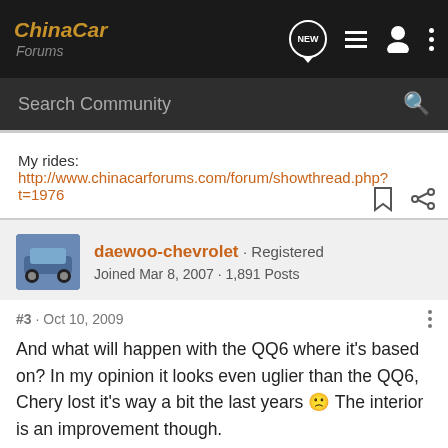ChinaCar Forums
My rides: http://www.chinacarforums.com/forum/showthread.php?t=1976
daewoo-chevrolet · Registered
Joined Mar 8, 2007 · 1,891 Posts
#3 · Oct 10, 2009
And what will happen with the QQ6 where it's based on? In my opinion it looks even uglier than the QQ6, Chery lost it's way a bit the last years 🙁 The interior is an improvement though.